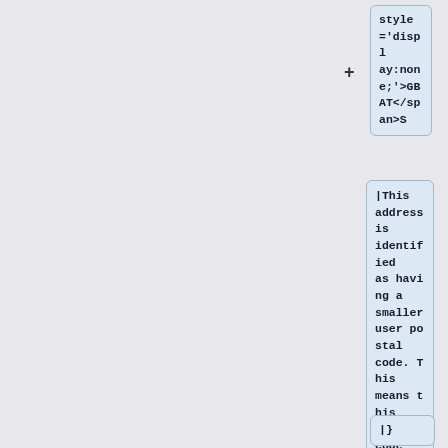style='display:none;'>GBAT</span>S
|This address is identified as having a smaller user postal code. This means this postal code will have usually around 15 delivery points but never more than 100.
|}